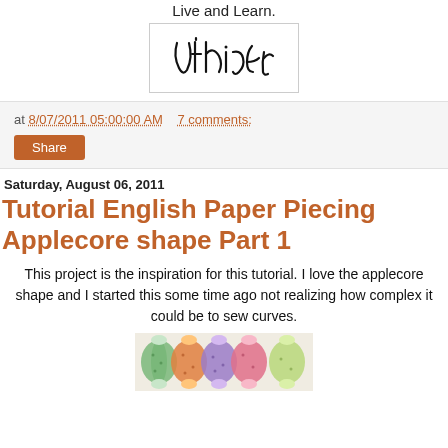Live and Learn.
[Figure (illustration): Handwritten signature reading 'Vickie' in black ink on white background with border]
at 8/07/2011 05:00:00 AM   7 comments:
Share
Saturday, August 06, 2011
Tutorial English Paper Piecing Applecore shape Part 1
This project is the inspiration for this tutorial. I love the applecore shape and I started this some time ago not realizing how complex it could be to sew curves.
[Figure (photo): Photo of quilt pieces in applecore shape with colorful patterned fabrics including green, orange, purple, pink colors arranged on white background]